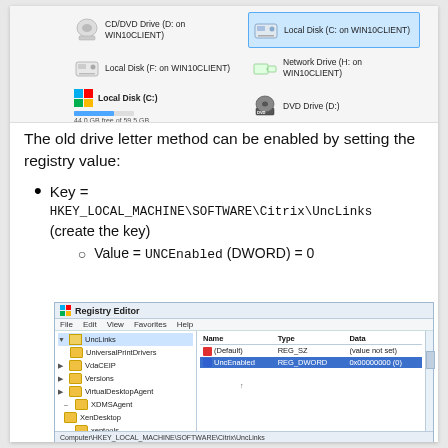[Figure (screenshot): Windows Explorer showing drive icons: CD/DVD Drive (D: on WIN10CLIENT), Local Disk (C: on WIN10CLIENT) highlighted in blue, Local Disk (F: on WIN10CLIENT), Network Drive (H: on WIN10CLIENT), Local Disk (C:) with progress bar showing 44.0 GB free of 59.5 GB, DVD Drive (D:)]
The old drive letter method can be enabled by setting the registry value:
Key = HKEY_LOCAL_MACHINE\SOFTWARE\Citrix\UncLinks (create the key)
Value = UNCEnabled (DWORD) = 0
[Figure (screenshot): Registry Editor showing HKEY_LOCAL_MACHINE\SOFTWARE\Citrix\UncLinks with UNCEnabled DWORD value set to 0x00000000 (0)]